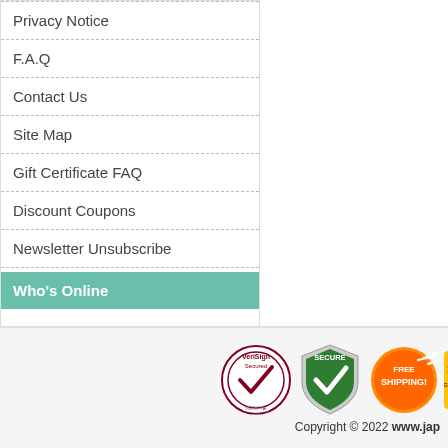Privacy Notice
F.A.Q
Contact Us
Site Map
Gift Certificate FAQ
Discount Coupons
Newsletter Unsubscribe
Who's Online
There currently are 24 guests and 1 member online.
[Figure (logo): Trust badges: VeriSign Secured, Secure checkmark shield, Free Shipping badge, Satisfaction Guarantee badge (partial)]
Copyright © 2022 www.jap...